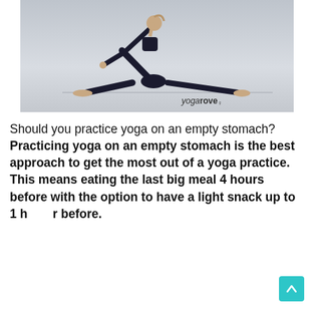[Figure (photo): A woman in black athletic wear performing a yoga triangle pose (extended side angle) against a light grey wall. She is stretching with one arm raised and legs spread wide. Watermark reads 'yoga rove' in bottom right.]
Should you practice yoga on an empty stomach? Practicing yoga on an empty stomach is the best approach to get the most out of a yoga practice. This means eating the last big meal 4 hours before with the option to have a light snack up to 1 hour before.